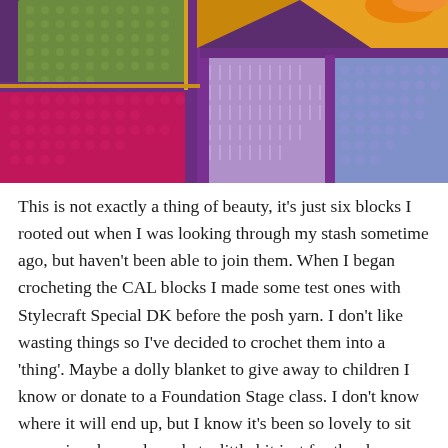[Figure (photo): Close-up photograph of colorful crochet blocks arranged together, showing green, magenta/red, purple, lavender, and blue crocheted squares with yellow/orange trim, joined in a patchwork pattern.]
This is not exactly a thing of beauty, it's just six blocks I rooted out when I was looking through my stash sometime ago, but haven't been able to join them. When I began crocheting the CAL blocks I made some test ones with Stylecraft Special DK before the posh yarn. I don't like wasting things so I've decided to crochet them into a 'thing'. Maybe a dolly blanket to give away to children I know or donate to a Foundation Stage class. I don't know where it will end up, but I know it's been so lovely to sit on a rainy day and crochet a little bit just for the sheer